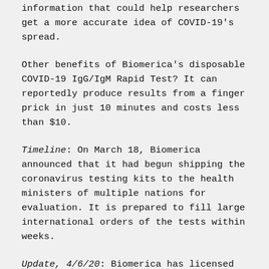information that could help researchers get a more accurate idea of COVID-19's spread.
Other benefits of Biomerica's disposable COVID-19 IgG/IgM Rapid Test? It can reportedly produce results from a finger prick in just 10 minutes and costs less than $10.
Timeline: On March 18, Biomerica announced that it had begun shipping the coronavirus testing kits to the health ministers of multiple nations for evaluation. It is prepared to fill large international orders of the tests within weeks.
Update, 4/6/20: Biomerica has licensed two of its serological testing technologies for COVID-19 to Mount Sinai...